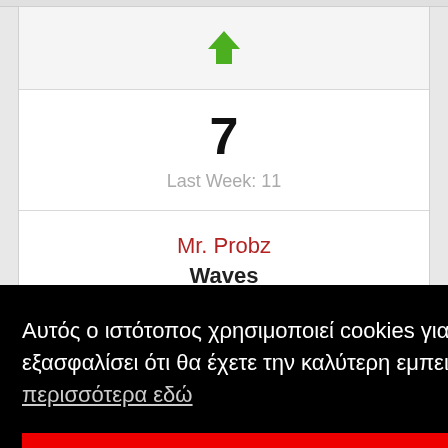[Figure (other): Green upward arrow icon indicating chart position movement up]
7
Last Week: 11
Mr. Probz
Waves
Αυτός ο ιστότοπος χρησιμοποιεί cookies για να εξασφαλίσει ότι θα έχετε την καλύτερη εμπειρία.  Μάθετε περισσότερα εδώ
ΔΕΧΟΜΑΙ